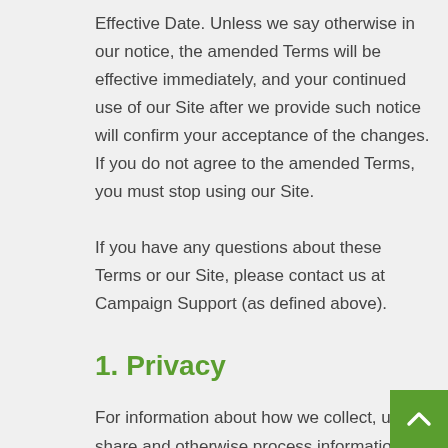Effective Date. Unless we say otherwise in our notice, the amended Terms will be effective immediately, and your continued use of our Site after we provide such notice will confirm your acceptance of the changes. If you do not agree to the amended Terms, you must stop using our Site.
If you have any questions about these Terms or our Site, please contact us at Campaign Support (as defined above).
1. Privacy
For information about how we collect, use, share and otherwise process information about you, please see our Privacy Policy.